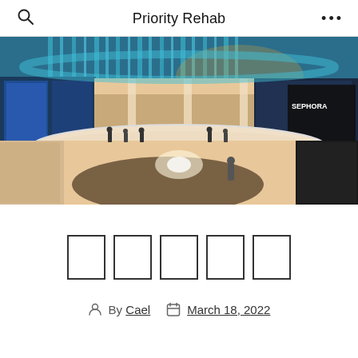Priority Rehab
[Figure (photo): Interior of a modern multi-level shopping mall with teal/blue ceiling lights, glass balconies, retail stores including Sephora, and shoppers on the lower level]
□□□□□
By Cael   March 18, 2022